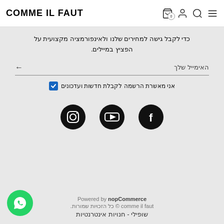COMME IL FAUT
כדי לקבל גישה למחירים שלנו ולאינפורמציה מקצועית על הפציץ במיילים.
האימייל שלך
אני מאשרת הרשמה לקבלת חדשות ועדכונים
[Figure (illustration): Social media icons: Instagram, YouTube, Facebook]
Powered by nopCommerce
comme il faut © כל הזכויות שמורות.
שופילי - חנויות אינטרנטיות